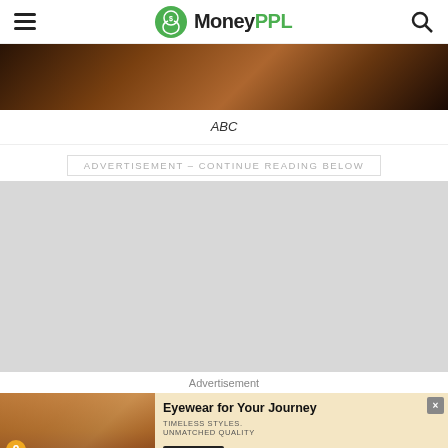MoneyPPL
[Figure (photo): Dark cinematic scene with warm amber/orange tones, appears to be a movie or TV scene]
ABC
ADVERTISEMENT - CONTINUE READING BELOW
[Figure (photo): Advertisement area - gray placeholder block]
Advertisement
[Figure (photo): Advertisement banner: Two women wearing sunglasses. Text reads: Eyewear for Your Journey. TIMELESS STYLES. UNMATCHED QUALITY. SHOP NOW button. Close button (x).]